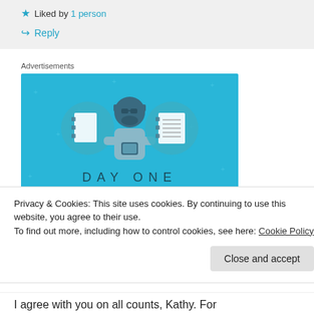★ Liked by 1 person
↪ Reply
Advertisements
[Figure (illustration): Day One journaling app advertisement showing a cartoon person holding a phone, flanked by two circular icons of notebooks, with text 'DAY ONE' and 'The only journaling app you'll ever need.' on a blue background.]
Privacy & Cookies: This site uses cookies. By continuing to use this website, you agree to their use.
To find out more, including how to control cookies, see here: Cookie Policy
Close and accept
I agree with you on all counts, Kathy. For